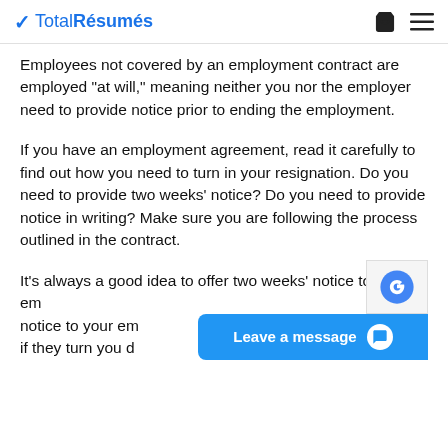TotalRésumés
Employees not covered by an employment contract are employed “at will,” meaning neither you nor the employer need to provide notice prior to ending the employment.
If you have an employment agreement, read it carefully to find out how you need to turn in your resignation. Do you need to provide two weeks’ notice? Do you need to provide notice in writing? Make sure you are following the process outlined in the contract.
It’s always a good idea to offer two weeks’ notice to your employer, even if they turn you d…